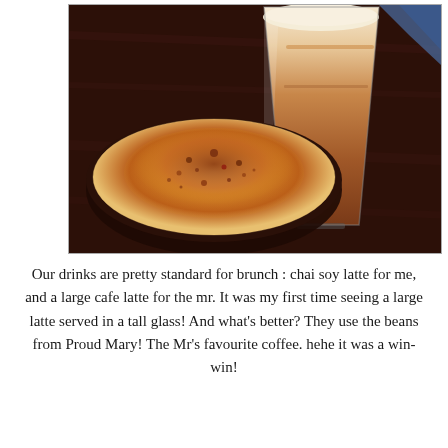[Figure (photo): Close-up photo of two coffee drinks on a dark wooden table. In the foreground is a round cup with a frothy surface dusted with cinnamon/spice (chai soy latte). In the background is a tall glass latte with layered coffee and milk foam.]
Our drinks are pretty standard for brunch : chai soy latte for me, and a large cafe latte for the mr. It was my first time seeing a large latte served in a tall glass! And what's better? They use the beans from Proud Mary! The Mr's favourite coffee. hehe it was a win-win!